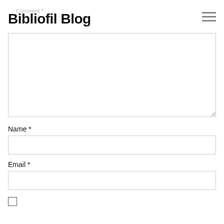Bibliofil Blog
Comment *
[Figure (screenshot): Large empty comment textarea with resize handle at bottom right]
Name *
[Figure (screenshot): Text input field for Name]
Email *
[Figure (screenshot): Text input field for Email]
[Figure (screenshot): Checkbox unchecked]